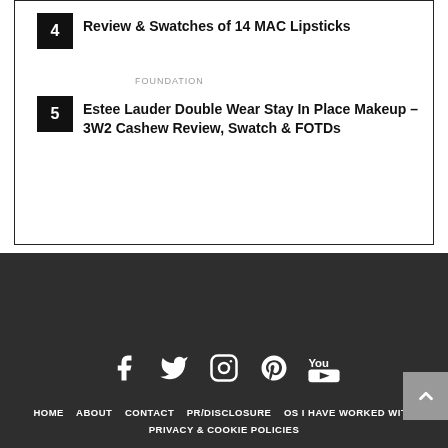4 – Review & Swatches of 14 MAC Lipsticks
FOUNDATION
5 – Estee Lauder Double Wear Stay In Place Makeup – 3W2 Cashew Review, Swatch & FOTDs
[Figure (other): Social media icons: Facebook, Twitter, Instagram, Pinterest, YouTube]
HOME   ABOUT   CONTACT   PR/DISCLOSURE   OS I HAVE WORKED WITH   PRIVACY & COOKIE POLICIES